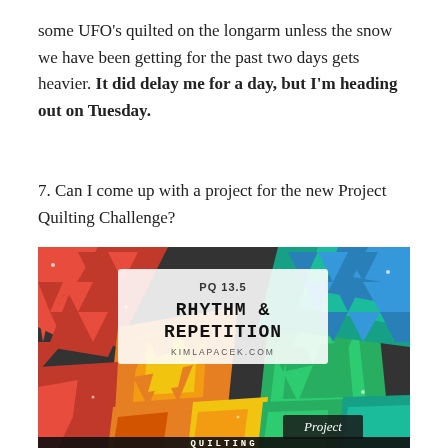some UFO's quilted on the longarm unless the snow we have been getting for the past two days gets heavier. It did delay me for a day, but I'm heading out on Tuesday.
7. Can I come up with a project for the new Project Quilting Challenge?
[Figure (illustration): Promotional image for Project Quilting challenge PQ 13.5 titled 'Rhythm & Repetition' by kimlapacek.com. Image shows colorful origami/geometric folded paper shapes in red, orange, yellow, green, teal/blue arranged in a rainbow pattern with a white text box overlay. Bottom shows 'Project Quilting' text partially visible.]